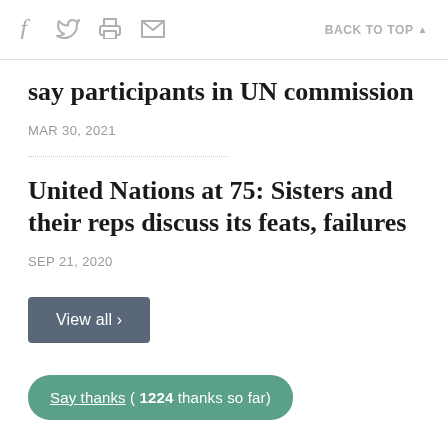f  [twitter]  [print]  [email]    BACK TO TOP ▲
say participants in UN commission
MAR 30, 2021
United Nations at 75: Sisters and their reps discuss its feats, failures
SEP 21, 2020
View all ›
Say thanks ( 1224 thanks so far)